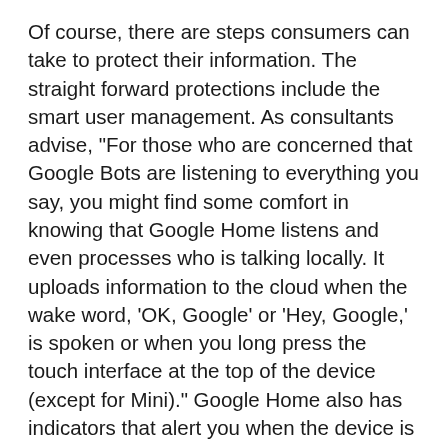Of course, there are steps consumers can take to protect their information. The straight forward protections include the smart user management. As consultants advise, "For those who are concerned that Google Bots are listening to everything you say, you might find some comfort in knowing that Google Home listens and even processes who is talking locally. It uploads information to the cloud when the wake word, 'OK, Google' or 'Hey, Google,' is spoken or when you long press the touch interface at the top of the device (except for Mini)." Google Home also has indicators that alert you when the device is listening in.
Ultimately, it's up to the consumer to make smart